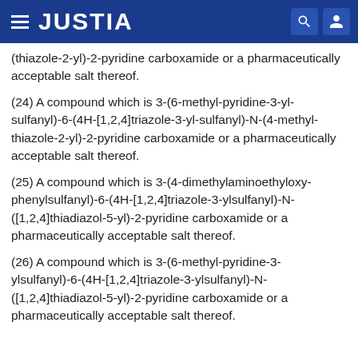JUSTIA
(thiazole-2-yl)-2-pyridine carboxamide or a pharmaceutically acceptable salt thereof.
(24) A compound which is 3-(6-methyl-pyridine-3-yl-sulfanyl)-6-(4H-[1,2,4]triazole-3-yl-sulfanyl)-N-(4-methyl-thiazole-2-yl)-2-pyridine carboxamide or a pharmaceutically acceptable salt thereof.
(25) A compound which is 3-(4-dimethylaminoethyloxy-phenylsulfanyl)-6-(4H-[1,2,4]triazole-3-ylsulfanyl)-N-([1,2,4]thiadiazol-5-yl)-2-pyridine carboxamide or a pharmaceutically acceptable salt thereof.
(26) A compound which is 3-(6-methyl-pyridine-3-ylsulfanyl)-6-(4H-[1,2,4]triazole-3-ylsulfanyl)-N-([1,2,4]thiadiazol-5-yl)-2-pyridine carboxamide or a pharmaceutically acceptable salt thereof.